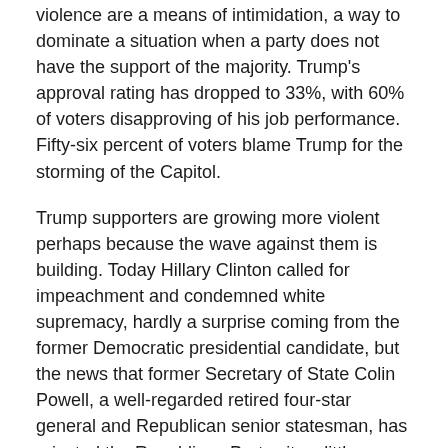violence are a means of intimidation, a way to dominate a situation when a party does not have the support of the majority. Trump's approval rating has dropped to 33%, with 60% of voters disapproving of his job performance. Fifty-six percent of voters blame Trump for the storming of the Capitol.
Trump supporters are growing more violent perhaps because the wave against them is building. Today Hillary Clinton called for impeachment and condemned white supremacy, hardly a surprise coming from the former Democratic presidential candidate, but the news that former Secretary of State Colin Powell, a well-regarded retired four-star general and Republican senior statesman, has rejected the Republican Party sits a little harder. Perhaps even worse is that Bill Belichick, general manager of the New England Patriots and previously a Trump supporter, today declined to accept Trump's offer of a Presidential Medal of Freedom.
Insurgents now face institutional pressure, as well. The Department of Justice and the FBI are tracking down more than 150 suspects for prosecution—so far—and hackers today claimed to have captured the personal data of Parler users from Parler servers, including material that users believed they